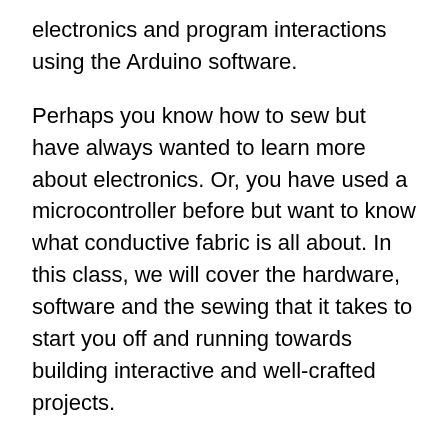electronics and program interactions using the Arduino software.
Perhaps you know how to sew but have always wanted to learn more about electronics. Or, you have used a microcontroller before but want to know what conductive fabric is all about. In this class, we will cover the hardware, software and the sewing that it takes to start you off and running towards building interactive and well-crafted projects.
You will learn techniques and apply new concepts by building a sewn circuit pin, two kinds of soft switches, a flex sensor and by making your microcontroller modular. You will also learn about digital and analog inputs and outputs through building the two main projects: The Hi-5 Collector and the Slouch Alert. The Hi-5 Collector is a